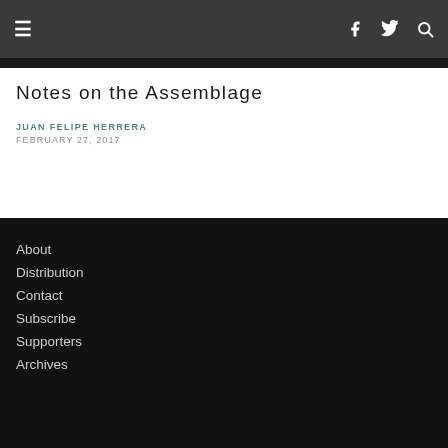Navigation bar with hamburger menu, Facebook, Twitter, and Search icons
Notes on the Assemblage
JUAN FELIPE HERRERA
FEBRUARY 27, 2017
About
Distribution
Contact
Subscribe
Supporers
Archives